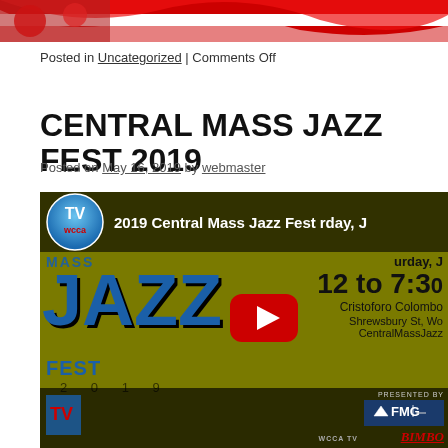[Figure (illustration): Partial red and white striped banner image at the top of the page, cropped]
Posted in Uncategorized | Comments Off
CENTRAL MASS JAZZ FEST 2019
Posted on May 16, 2019 by webmaster
[Figure (screenshot): YouTube video embed thumbnail showing the 2019 Central Mass Jazz Fest video with WCCA TV logo, jazz fest promotional poster with event details (Saturday, 12 to 7:30, Cristoforo Colombo, Shrewsbury St, CentralMassJazz), YouTube play button overlay, and sponsor logos (FMG, BIMBO) at the bottom]